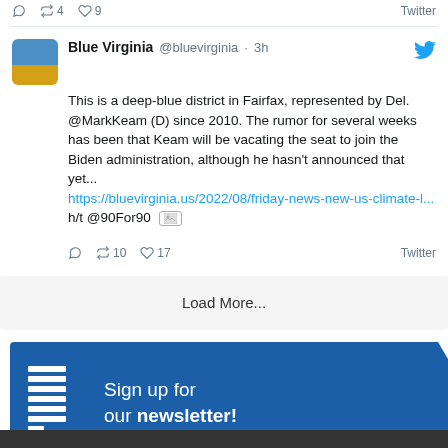4 retweets, 9 likes, Twitter
Blue Virginia @bluevirginia · 3h — This is a deep-blue district in Fairfax, represented by Del. @MarkKeam (D) since 2010. The rumor for several weeks has been that Keam will be vacating the seat to join the Biden administration, although he hasn't announced that yet... https://bluevirginia.us/2022/08/friday-news-new-us-climate-l... h/t @90For90
10 retweets, 17 likes, Twitter
Load More...
[Figure (infographic): Blue banner with newsletter icon and arrow shape: 'Sign up for our newsletter!']